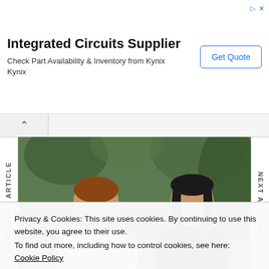Integrated Circuits Supplier
Check Part Availability & Inventory from Kynix
Kynix
Get Quote
[Figure (photo): Photo of two people (a man in white shirt with reddish beard, and a woman with long dark hair holding a camera) seated outdoors with green foliage in background]
PREVIOUS ARTICLE
NEXT ARTICLE
Privacy & Cookies: This site uses cookies. By continuing to use this website, you agree to their use.
To find out more, including how to control cookies, see here: Cookie Policy
Close and accept